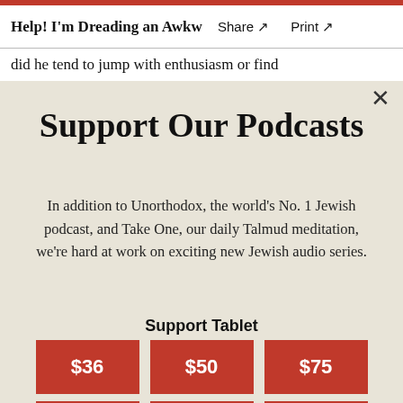Help! I'm Dreading an Awkw   Share ↗   Print ↗
did he tend to jump with enthusiasm or find
Support Our Podcasts
In addition to Unorthodox, the world's No. 1 Jewish podcast, and Take One, our daily Talmud meditation, we're hard at work on exciting new Jewish audio series.
Support Tablet
[Figure (infographic): Three red donation buttons in a row showing $36, $50, and $75, and partial view of another row of red buttons below.]